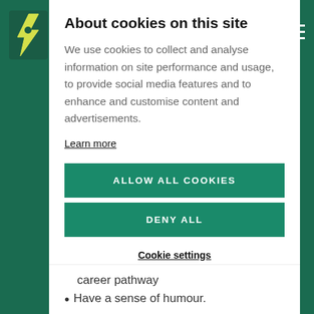About cookies on this site
We use cookies to collect and analyse information on site performance and usage, to provide social media features and to enhance and customise content and advertisements.
Learn more
ALLOW ALL COOKIES
DENY ALL
Cookie settings
career pathway
Have a sense of humour.